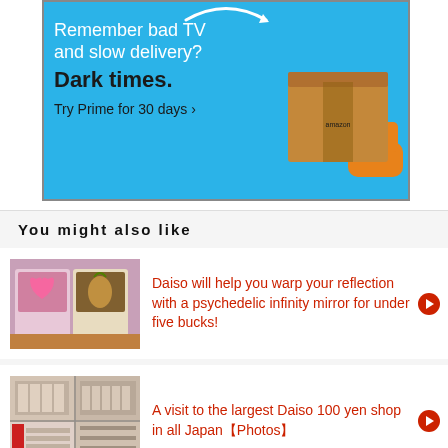[Figure (screenshot): Amazon Prime advertisement banner with blue background. Text reads: 'Remember bad TV and slow delivery? Dark times. Try Prime for 30 days ›' with Amazon smile logo and an Amazon delivery box illustration.]
You might also like
[Figure (photo): Photo of two Daiso infinity mirror products in packaging on a wooden surface — a heart-shaped and a pineapple-shaped light.]
Daiso will help you warp your reflection with a psychedelic infinity mirror for under five bucks!
[Figure (photo): Photo of the interior of a large Daiso 100 yen shop in Japan, showing store aisles and shelves.]
A visit to the largest Daiso 100 yen shop in all Japan【Photos】